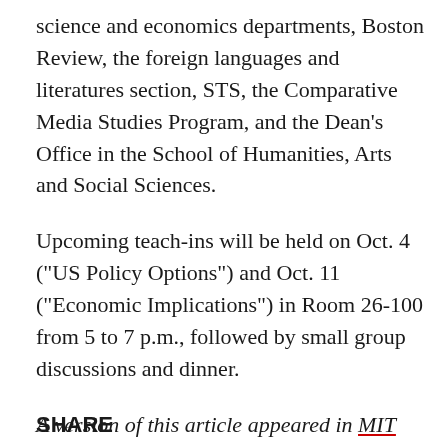science and economics departments, Boston Review, the foreign languages and literatures section, STS, the Comparative Media Studies Program, and the Dean's Office in the School of Humanities, Arts and Social Sciences.
Upcoming teach-ins will be held on Oct. 4 ("US Policy Options") and Oct. 11 ("Economic Implications") in Room 26-100 from 5 to 7 p.m., followed by small group discussions and dinner.
A version of this article appeared in MIT Tech Talk on October 3, 2001.
SHARE